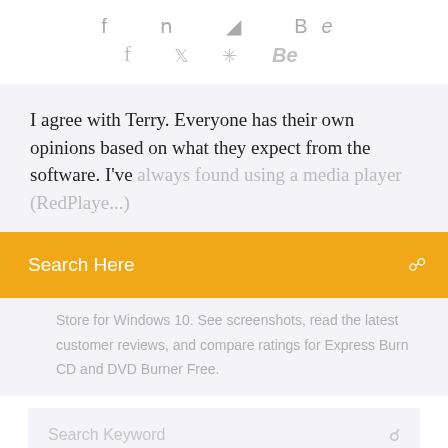f  twitter  dribbble  Be
I agree with Terry. Everyone has their own opinions based on what they expect from the software. I've always found using a media player (RedPlayer)
Search Here
Store for Windows 10. See screenshots, read the latest customer reviews, and compare ratings for Express Burn CD and DVD Burner Free.
Search Keyword
Search